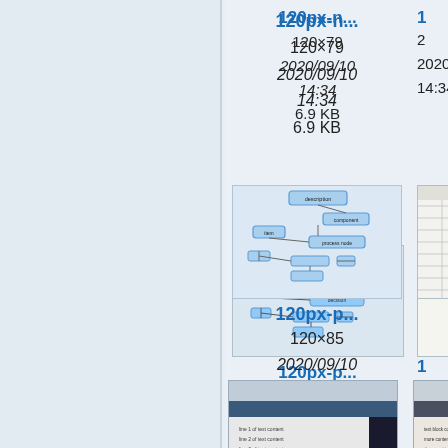[Figure (screenshot): File browser grid view showing image thumbnails with file metadata. First visible row: '120px-n...' (120×79, 2020/09/10 14:34, 6.9 KB), '120px-p...' (120×114, 2020/09/10 14:34, 4.4 KB), partial third item. Second row: flowchart thumbnail '120px-p...' (120×85, 2020/09/10 14:34, 4.2 KB), screenshot thumbnail '120px-re...' (120×66, 2020/09/10 14:34, 1.8 KB), partial third item. Bottom partial row with two more thumbnails.]